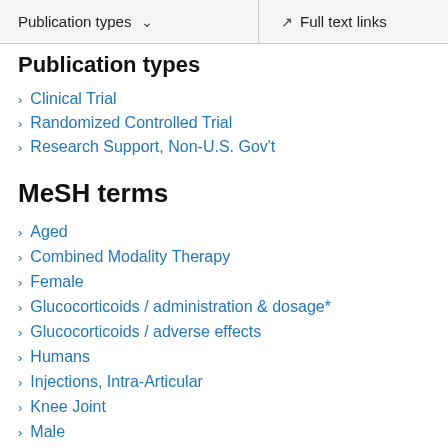Publication types  ∨     Full text links
Publication types
Clinical Trial
Randomized Controlled Trial
Research Support, Non-U.S. Gov't
MeSH terms
Aged
Combined Modality Therapy
Female
Glucocorticoids / administration & dosage*
Glucocorticoids / adverse effects
Humans
Injections, Intra-Articular
Knee Joint
Male
Middle Aged